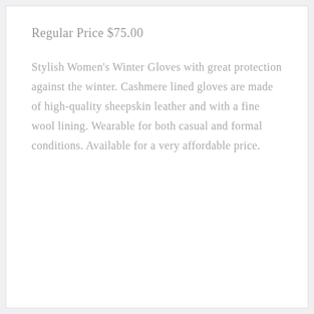Regular Price $75.00
Stylish Women's Winter Gloves with great protection against the winter. Cashmere lined gloves are made of high-quality sheepskin leather and with a fine wool lining. Wearable for both casual and formal conditions. Available for a very affordable price.